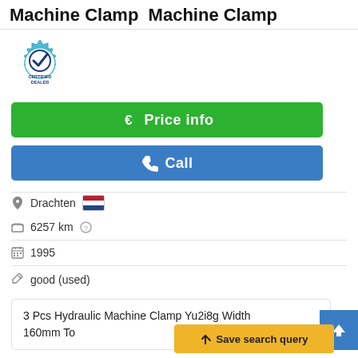Machine Clamp  Machine Clamp
[Figure (logo): Certified Dealer badge - circular gear shape in teal/blue with checkmark and text CERTIFIED DEALER]
€ Price info
✆ Call
Drachten [Netherlands flag]
6257 km ?
1995
good (used)
3 Pcs Hydraulic Machine Clamp Yu2i8g Width 160mm To
➤ Save search query